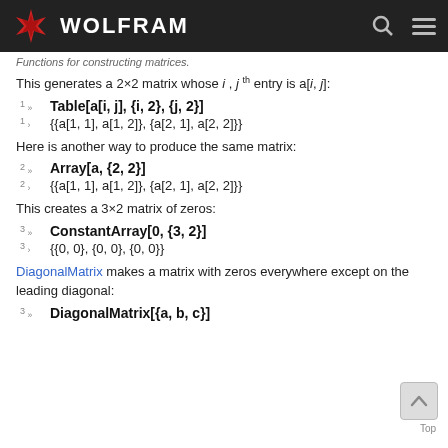WOLFRAM
Functions for constructing matrices.
This generates a 2×2 matrix whose i, j th entry is a[i, j]:
1 » Table[a[i, j], {i, 2}, {j, 2}]
1 › {{a[1, 1], a[1, 2]}, {a[2, 1], a[2, 2]}}
Here is another way to produce the same matrix:
2 » Array[a, {2, 2}]
2 › {{a[1, 1], a[1, 2]}, {a[2, 1], a[2, 2]}}
This creates a 3×2 matrix of zeros:
3 » ConstantArray[0, {3, 2}]
3 › {{0, 0}, {0, 0}, {0, 0}}
DiagonalMatrix makes a matrix with zeros everywhere except on the leading diagonal:
3 » DiagonalMatrix[{a, b, c}]